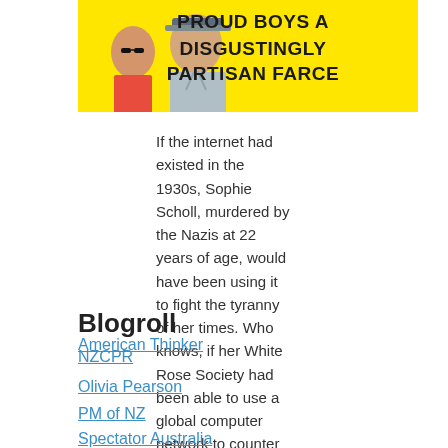[Figure (illustration): Yellow banner image with text 'PROUD BOYS A DISGUSTINGLY PARTISAN FARCE' in bold black uppercase letters, with figures of a woman and a police officer on the left side.]
If the internet had existed in the 1930s, Sophie Scholl, murdered by the Nazis at 22 years of age, would have been using it to fight the tyranny of her times. Who knows, if her White Rose Society had been able to use a global computer network to counter the deceit and deception of the […]
Blogroll
American Thinker
NZCPR
Olivia Pearson
PM of NZ
Spectator Australia
Meta